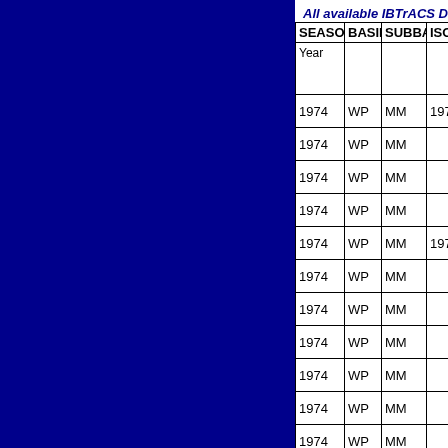All available IBTrACS Data
| SEASON | BASIN | SUBBASIN | ISO_TIME__ |
| --- | --- | --- | --- |
| Year |  |  |  |
| 1974 | WP | MM | 1974-10-12 |
| 1974 | WP | MM |  |
| 1974 | WP | MM |  |
| 1974 | WP | MM |  |
| 1974 | WP | MM | 1974-10-13 |
| 1974 | WP | MM |  |
| 1974 | WP | MM |  |
| 1974 | WP | MM |  |
| 1974 | WP | MM |  |
| 1974 | WP | MM |  |
| 1974 | WP | MM |  |
| 1974 | WP | MM |  |
| 1974 | WP | MM | 1974-10-14 |
| 1974 | WP | MM |  |
| 1974 | WP | MM |  |